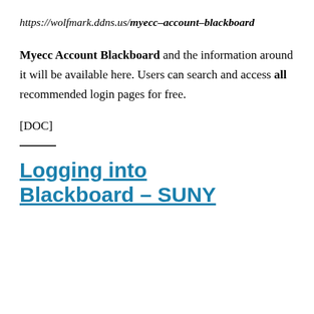https://wolfmark.ddns.us/myecc–account–blackboard
Myecc Account Blackboard and the information around it will be available here. Users can search and access all recommended login pages for free.
[DOC]
Logging into Blackboard – SUNY